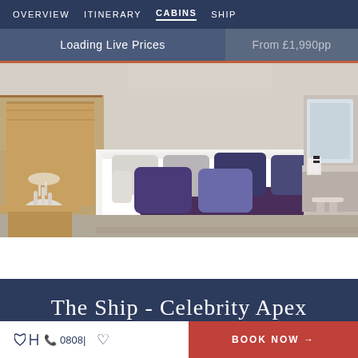OVERVIEW  ITINERARY  CABINS  SHIP
Loading Live Prices
From £1,990pp
[Figure (photo): Luxury cruise ship cabin bedroom with white bedding, purple throw, blue and grey decorative pillows, wooden headboard, coral decoration, and a desk with mirror on the right side]
The Ship - Celebrity Apex
0808| ♡  BOOK NOW →